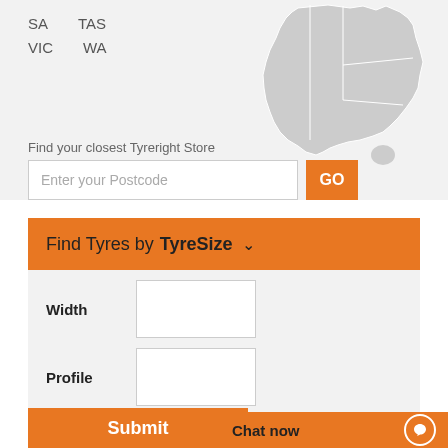SA    TAS
VIC    WA
[Figure (map): Grey silhouette map of Australia showing state boundaries]
Find your closest Tyreright Store
Enter your Postcode
GO
Find Tyres by Tyre Size
Width
Profile
Rim
Submit
Chat now